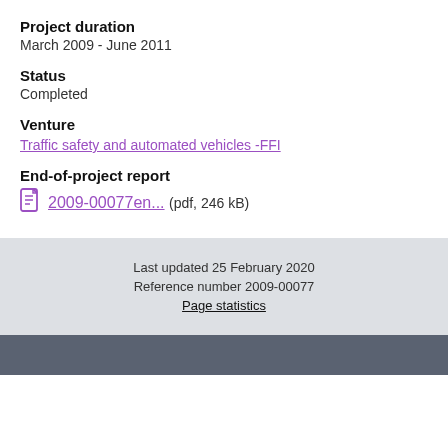Project duration
March 2009 - June 2011
Status
Completed
Venture
Traffic safety and automated vehicles -FFI
End-of-project report
2009-00077en... (pdf, 246 kB)
Last updated 25 February 2020
Reference number 2009-00077
Page statistics